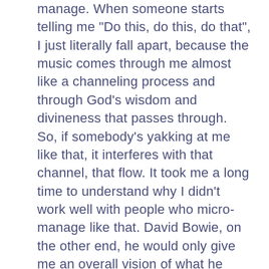manage. When someone starts telling me "Do this, do this, do that", I just literally fall apart, because the music comes through me almost like a channeling process and through God's wisdom and divineness that passes through. So, if somebody's yakking at me like that, it interferes with that channel, that flow. It took me a long time to understand why I didn't work well with people who micro-manage like that. David Bowie, on the other end, he would only give me an overall vision of what he wanted to achieve; even nothing, sometimes! But because of that immense trust that I felt from him, anything that I could play for him, he was able to find it useful somewhere, when we were working together. Anything I could play for him, any style, genres, from Avant-Garde, Gospel, Jazz, Punk, straight Rock, David was always able to find an element, something, that could fit in one of his songs. The reason David was what he was, it was because he was hugely open-minded. That's